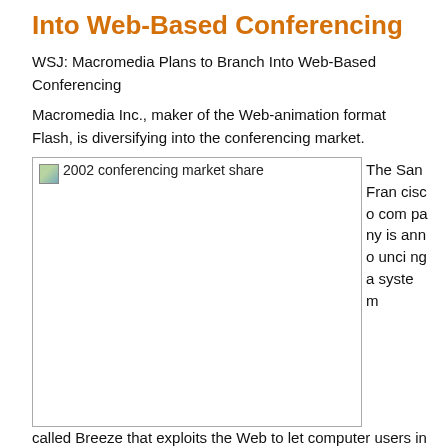Into Web-Based Conferencing
WSJ: Macromedia Plans to Branch Into Web-Based Conferencing
Macromedia Inc., maker of the Web-animation format Flash, is diversifying into the conferencing market.
[Figure (other): Image placeholder labeled '2002 conferencing market share' with broken image icon]
The San Francisco company is announcing a system called Breeze that exploits the Web to let computer users in different locations view and discuss documents, images and video. Besides live